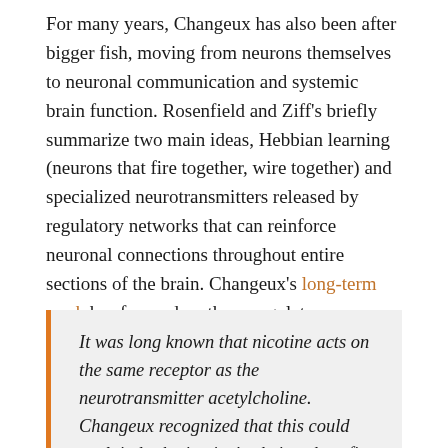For many years, Changeux has also been after bigger fish, moving from neurons themselves to neuronal communication and systemic brain function. Rosenfield and Ziff's briefly summarize two main ideas, Hebbian learning (neurons that fire together, wire together) and specialized neurotransmitters released by regulatory networks that can reinforce neuronal connections throughout entire sections of the brain. Changeux's long-term work has focused on those regulatory networks, in particular on the neurotransmitter acetylcholine:
It was long known that nicotine acts on the same receptor as the neurotransmitter acetylcholine. Changeux recognized that this could explain both nicotine's obvious benefits